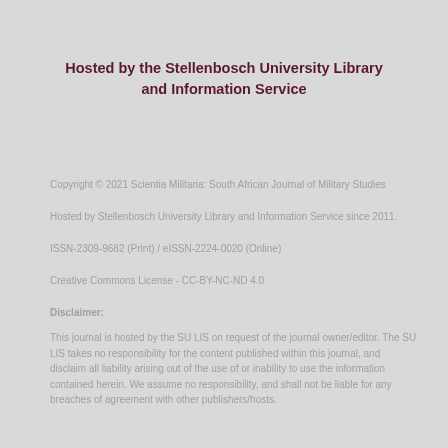Hosted by the Stellenbosch University Library and Information Service
Copyright © 2021 Scientia Militaria: South African Journal of Military Studies
Hosted by Stellenbosch University Library and Information Service since 2011.
ISSN-2309-9682 (Print) / eISSN-2224-0020 (Online)
Creative Commons License - CC-BY-NC-ND 4.0
Disclaimer:
This journal is hosted by the SU LIS on request of the journal owner/editor. The SU LIS takes no responsibility for the content published within this journal, and disclaim all liability arising out of the use of or inability to use the information contained herein. We assume no responsibility, and shall not be liable for any breaches of agreement with other publishers/hosts.